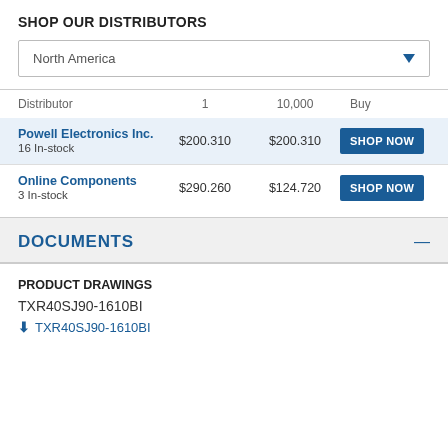SHOP OUR DISTRIBUTORS
North America
| Distributor | 1 | 10,000 | Buy |
| --- | --- | --- | --- |
| Powell Electronics Inc.
16 In-stock | $200.310 | $200.310 | SHOP NOW |
| Online Components
3 In-stock | $290.260 | $124.720 | SHOP NOW |
DOCUMENTS
PRODUCT DRAWINGS
TXR40SJ90-1610BI
TXR40SJ90-1610BI